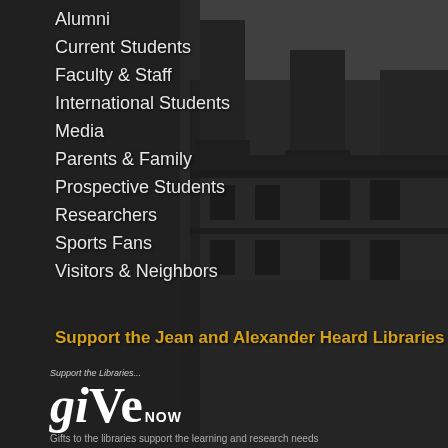Alumni
Current Students
Faculty & Staff
International Students
Media
Parents & Family
Prospective Students
Researchers
Sports Fans
Visitors & Neighbors
Support the Jean and Alexander Heard Libraries
[Figure (logo): giVe NOW logo with tagline 'Support the Libraries...']
Gifts to the Libraries support the learning and research needs